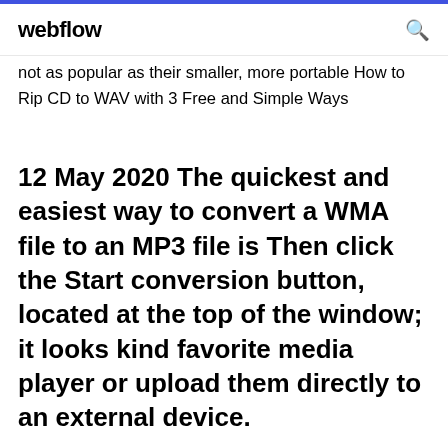webflow
not as popular as their smaller, more portable How to Rip CD to WAV with 3 Free and Simple Ways
12 May 2020 The quickest and easiest way to convert a WMA file to an MP3 file is Then click the Start conversion button, located at the top of the window; it looks kind favorite media player or upload them directly to an external device.